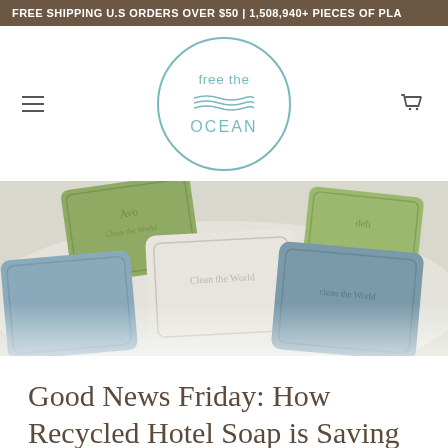FREE SHIPPING U.S ORDERS OVER $50 | 1,508,940+ PIECES OF PLA
[Figure (logo): Free the Ocean circular logo with wave design and teal text]
[Figure (photo): Photo of colorful recycled hotel soap bars (green, white, blue) arranged on a light surface]
Good News Friday: How Recycled Hotel Soap is Saving Lives